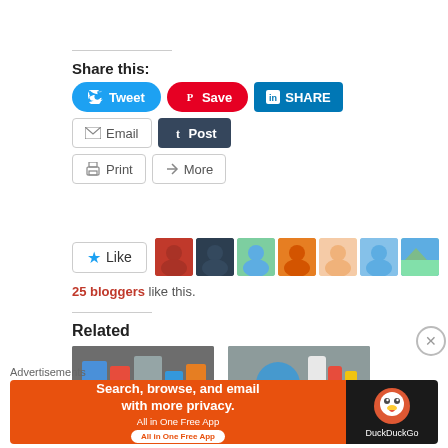Share this:
[Figure (screenshot): Social share buttons: Tweet (Twitter/blue), Save (Pinterest/red), SHARE (LinkedIn/dark blue), Email (gray border), Post (Tumblr/dark navy), Print (gray border), More (gray border)]
[Figure (screenshot): Like button with star icon and a strip of 7 blogger avatars]
25 bloggers like this.
Related
[Figure (photo): Related article image 1: grocery/pantry items]
[Figure (photo): Related article image 2: cleaning/household products]
Advertisements
[Figure (screenshot): DuckDuckGo advertisement banner: Search, browse, and email with more privacy. All in One Free App]